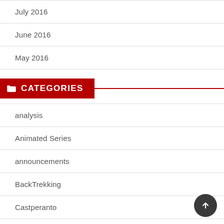July 2016
June 2016
May 2016
CATEGORIES
analysis
Animated Series
announcements
BackTrekking
Castperanto
conventions
Deep Space Nine